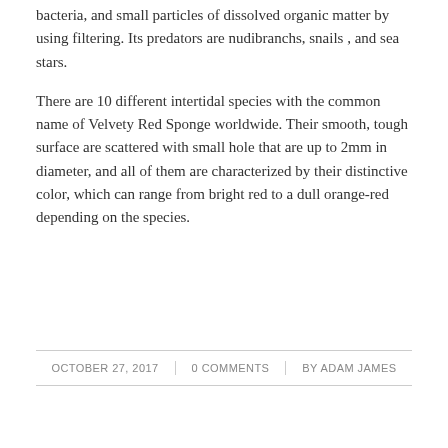bacteria, and small particles of dissolved organic matter by using filtering. Its predators are nudibranchs, snails , and sea stars.
There are 10 different intertidal species with the common name of Velvety Red Sponge worldwide. Their smooth, tough surface are scattered with small hole that are up to 2mm in diameter, and all of them are characterized by their distinctive color, which can range from bright red to a dull orange-red depending on the species.
OCTOBER 27, 2017 | 0 COMMENTS | BY ADAM JAMES